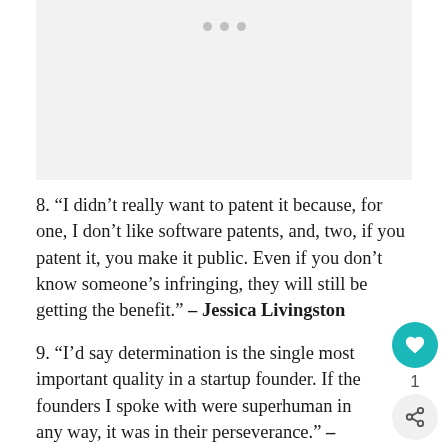[Figure (other): Gray placeholder image area with three navigation dots at top center]
8. “I didn’t really want to patent it because, for one, I don’t like software patents, and, two, if you patent it, you make it public. Even if you don’t know someone’s infringing, they will still be getting the benefit.” – Jessica Livingston
9. “I’d say determination is the single most important quality in a startup founder. If the founders I spoke with were superhuman in any way, it was in their perseverance.” – Jessica